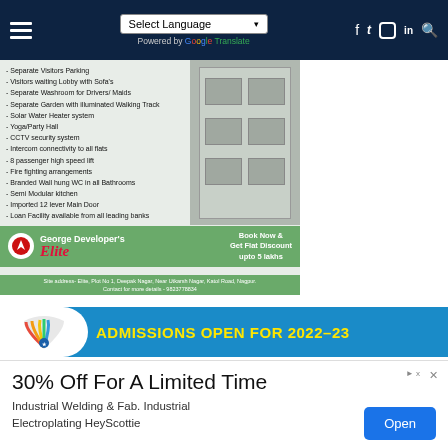Navigation bar with hamburger menu, Select Language dropdown, Google Translate, and social icons (Facebook, Twitter, Instagram, LinkedIn, Search)
[Figure (photo): George Developer's Elite real estate advertisement showing apartment building photo, feature list, logo, 'Book Now & Get Flat Discount upto 5 lakhs', site address: Elite, Plot No 1, Deepak Nagar, Near Utkarsh Nagar, Katol Road, Nagpur. Contact for more details - 9823778834]
[Figure (infographic): Admissions Open for 2022-23 banner in blue with rainbow logo and yellow bold text]
[Figure (infographic): Advertisement: 30% Off For A Limited Time. Industrial Welding & Fab. Industrial Electroplating HeyScottie. Open button.]